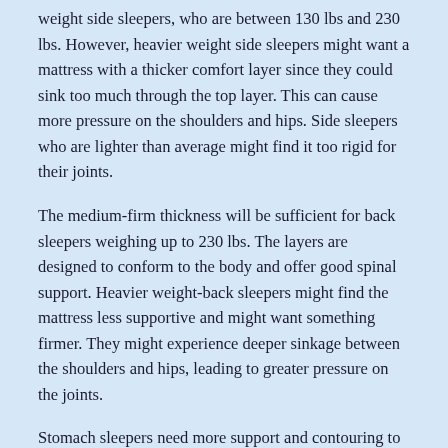weight side sleepers, who are between 130 lbs and 230 lbs. However, heavier weight side sleepers might want a mattress with a thicker comfort layer since they could sink too much through the top layer. This can cause more pressure on the shoulders and hips. Side sleepers who are lighter than average might find it too rigid for their joints.
The medium-firm thickness will be sufficient for back sleepers weighing up to 230 lbs. The layers are designed to conform to the body and offer good spinal support. Heavier weight-back sleepers might find the mattress less supportive and might want something firmer. They might experience deeper sinkage between the shoulders and hips, leading to greater pressure on the joints.
Stomach sleepers need more support and contouring to avoid sinkage. With its medium firmness, the Nectar Mattress will be comfortable for stomach sleepers. The base and transitional layers offer enough support to keep the stomach and chest from